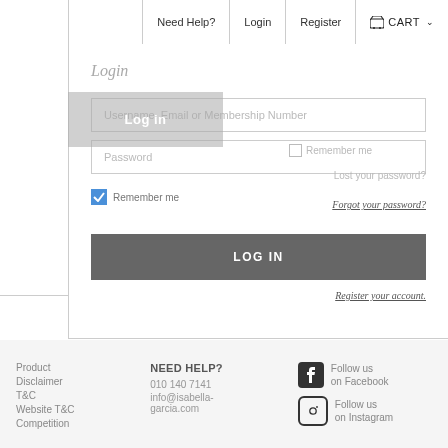Need Help? | Login | Register | CART
Login
Log in (overlay button)
Remember me (ghost)
Username, Email or Membership Number
Password
Lost your password?
Remember Me
Forgot your password?
LOG IN
Register your account.
Product Disclaimer T&C Website T&C Competition
NEED HELP? 010 140 7141 info@isabella-garcia.com
Follow us on Facebook Follow us on Instagram